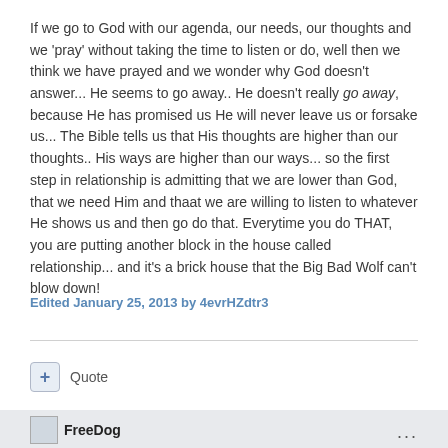If we go to God with our agenda, our needs, our thoughts and we 'pray' without taking the time to listen or do, well then we think we have prayed and we wonder why God doesn't answer... He seems to go away.. He doesn't really go away, because He has promised us He will never leave us or forsake us... The Bible tells us that His thoughts are higher than our thoughts.. His ways are higher than our ways... so the first step in relationship is admitting that we are lower than God, that we need Him and thaat we are willing to listen to whatever He shows us and then go do that. Everytime you do THAT, you are putting another block in the house called relationship... and it's a brick house that the Big Bad Wolf can't blow down!
Edited January 25, 2013 by 4evrHZdtr3
Quote
FreeDog